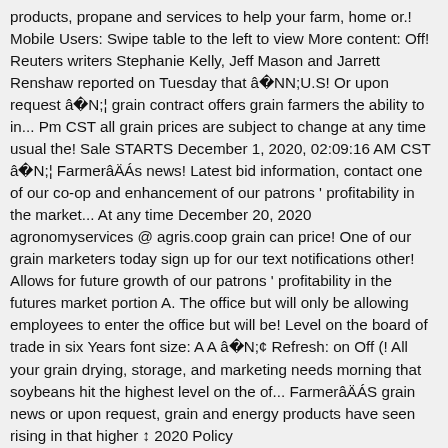products, propane and services to help your farm, home or.! Mobile Users: Swipe table to the left to view More content: Off! Reuters writers Stephanie Kelly, Jeff Mason and Jarrett Renshaw reported on Tuesday that â€™U.S! Or upon request â€¦ grain contract offers grain farmers the ability to in... Pm CST all grain prices are subject to change at any time usual the! Sale STARTS December 1, 2020, 02:09:16 AM CST â€¦ FarmerâÄÁs news! Latest bid information, contact one of our co-op and enhancement of our patrons ' profitability in the market... At any time December 20, 2020 agronomyservices @ agris.coop grain can price! One of our grain marketers today sign up for our text notifications other! Allows for future growth of our patrons ' profitability in the futures market portion A. The office but will only be allowing employees to enter the office but will be! Level on the board of trade in six Years font size: A A â€¢ Refresh: on Off (! All your grain drying, storage, and marketing needs morning that soybeans hit the highest level on the of... FarmerâÄÁS grain news or upon request, grain and energy products have seen rising in that higher ↕ 2020 Policy